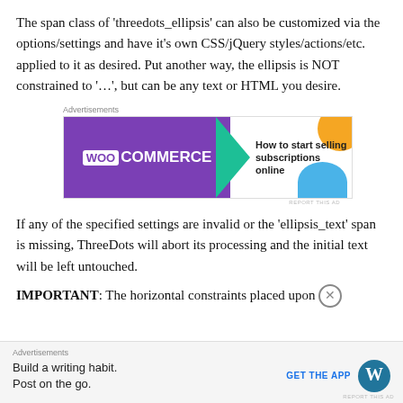The span class of 'threedots_ellipsis' can also be customized via the options/settings and have it's own CSS/jQuery styles/actions/etc. applied to it as desired. Put another way, the ellipsis is NOT constrained to '…', but can be any text or HTML you desire.
[Figure (other): WooCommerce advertisement banner: purple background with WooCommerce logo on left, green arrow shape, right side shows 'How to start selling subscriptions online' text with orange circle and blue arc decorations]
If any of the specified settings are invalid or the 'ellipsis_text' span is missing, ThreeDots will abort its processing and the initial text will be left untouched.
IMPORTANT: The horizontal constraints placed upon
[Figure (other): WordPress advertisement bar at bottom: grey background, 'Build a writing habit. Post on the go.' text, GET THE APP button, WordPress logo circle]